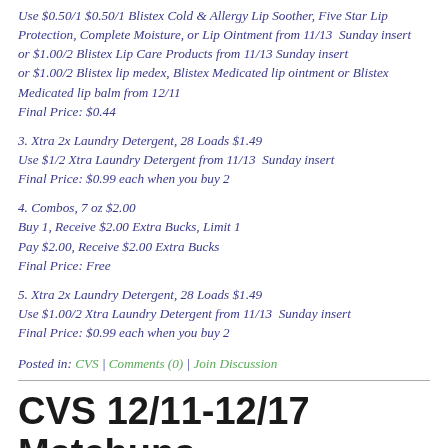Use $0.50/1 $0.50/1 Blistex Cold & Allergy Lip Soother, Five Star Lip Protection, Complete Moisture, or Lip Ointment from 11/13 Sunday insert or $1.00/2 Blistex Lip Care Products from 11/13 Sunday insert or $1.00/2 Blistex lip medex, Blistex Medicated lip ointment or Blistex Medicated lip balm from 12/11
Final Price: $0.44
3. Xtra 2x Laundry Detergent, 28 Loads $1.49
Use $1/2 Xtra Laundry Detergent from 11/13 Sunday insert
Final Price: $0.99 each when you buy 2
4. Combos, 7 oz $2.00
Buy 1, Receive $2.00 Extra Bucks, Limit 1
Pay $2.00, Receive $2.00 Extra Bucks
Final Price: Free
5. Xtra 2x Laundry Detergent, 28 Loads $1.49
Use $1.00/2 Xtra Laundry Detergent from 11/13 Sunday insert
Final Price: $0.99 each when you buy 2
Posted in: CVS | Comments (0) | Join Discussion
CVS 12/11-12/17 Matchups
Posted on Monday, December 12th, 2011 at 3:02 pm
Tweet | Pin it | Share